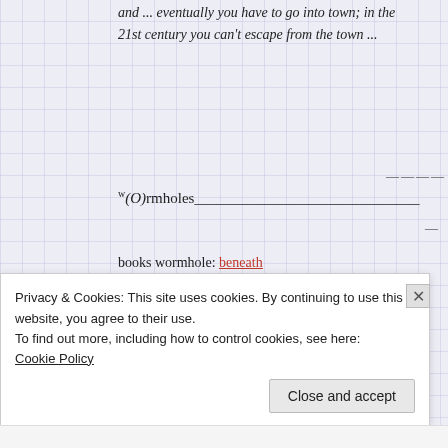and ... eventually you have to go into town; in the 21st century you can't escape from the town ...
w(O)rmholes________________________________
books wormhole: beneath
leaves & path wormhole: breakfast
Privacy & Cookies: This site uses cookies. By continuing to use this website, you agree to their use.
To find out more, including how to control cookies, see here:
Cookie Policy
Close and accept